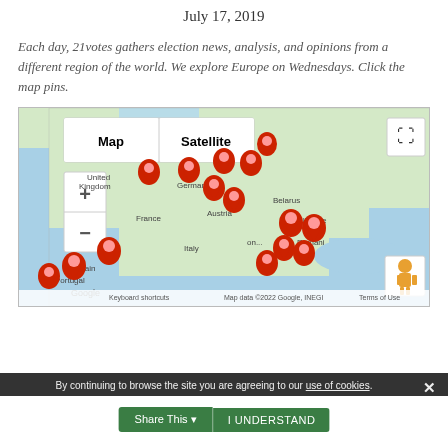July 17, 2019
Each day, 21votes gathers election news, analysis, and opinions from a different region of the world. We explore Europe on Wednesdays. Click the map pins.
[Figure (map): Google Map showing Europe with multiple red location pins placed across countries including Spain, Portugal, France, UK, Germany, Austria, Italy, Romania, Ukraine, Belarus area, and Poland. Map/Satellite toggle shown at top left, zoom controls on left side, Google logo and attribution at bottom.]
By continuing to browse the site you are agreeing to our use of cookies.
Share This
I UNDERSTAND